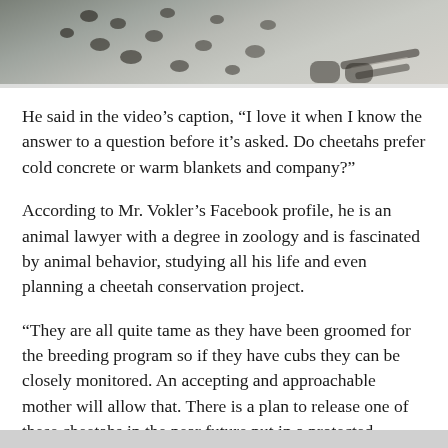[Figure (photo): Partial photo of a cheetah with spotted coat lying on a surface, cropped to show the animal's body and legs]
He said in the video’s caption, “I love it when I know the answer to a question before it’s asked. Do cheetahs prefer cold concrete or warm blankets and company?”
According to Mr. Vokler’s Facebook profile, he is an animal lawyer with a degree in zoology and is fascinated by animal behavior, studying all his life and even planning a cheetah conservation project.
“They are all quite tame as they have been groomed for the breeding program so if they have cubs they can be closely monitored. An accepting and approachable mother will allow that. There is a plan to release one of these cheetahs in the near future put in a protected game,” he says in the video.